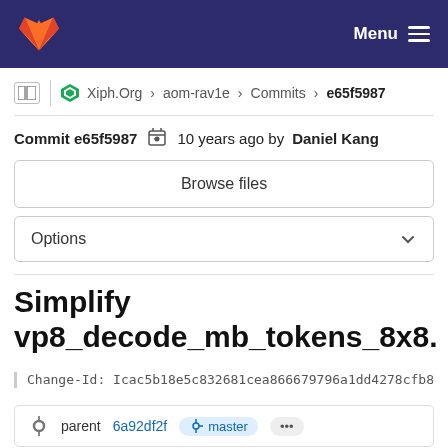GitLab navigation bar with Menu
Xiph.Org › aom-rav1e › Commits › e65f5987
Commit e65f5987  10 years ago by Daniel Kang
Browse files
Options
Simplify vp8_decode_mb_tokens_8x8.
Change-Id: Icac5b18e5c832681cea866679796a1dd4278cfb8
parent 6a92df2f  master  ...